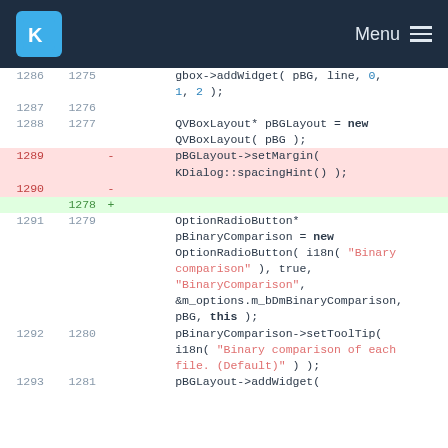KDE Menu
[Figure (screenshot): Code diff view showing C++ source code changes. Lines 1286-1293 (old) / 1275-1281 (new). Removed lines show pBGLayout->setMargin(KDialog::spacingHint()); and blank line. Added blank line 1278. Context shows gbox->addWidget, QVBoxLayout, OptionRadioButton, pBinaryComparison setup with i18n strings.]